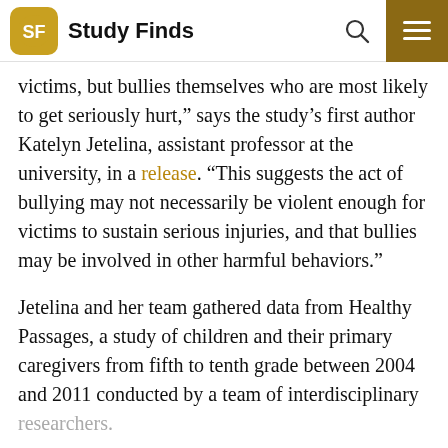Study Finds
victims, but bullies themselves who are most likely to get seriously hurt,” says the study’s first author Katelyn Jetelina, assistant professor at the university, in a release. “This suggests the act of bullying may not necessarily be violent enough for victims to sustain serious injuries, and that bullies may be involved in other harmful behaviors.”
Jetelina and her team gathered data from Healthy Passages, a study of children and their primary caregivers from fifth to tenth grade between 2004 and 2011 conducted by a team of interdisciplinary researchers.